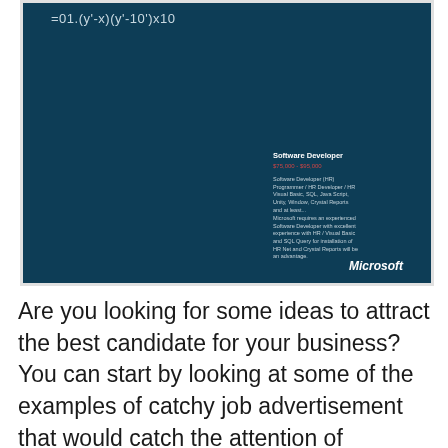[Figure (other): Microsoft job advertisement with dark teal background showing a mathematical formula at the top and a Software Developer job posting in the lower right, with the Microsoft logo at the bottom right.]
Are you looking for some ideas to attract the best candidate for your business? You can start by looking at some of the examples of catchy job advertisement that would catch the attention of applicants. We think this is the perfect job advertisement for the candidate for...